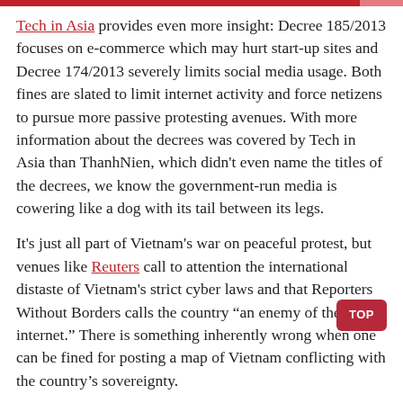Tech in Asia provides even more insight: Decree 185/2013 focuses on e-commerce which may hurt start-up sites and Decree 174/2013 severely limits social media usage. Both fines are slated to limit internet activity and force netizens to pursue more passive protesting avenues. With more information about the decrees was covered by Tech in Asia than ThanhNien, which didn't even name the titles of the decrees, we know the government-run media is cowering like a dog with its tail between its legs.
It's just all part of Vietnam's war on peaceful protest, but venues like Reuters call to attention the international distaste of Vietnam's strict cyber laws and that Reporters Without Borders calls the country "an enemy of the internet." There is something inherently wrong when one can be fined for posting a map of Vietnam conflicting with the country's sovereignty.
Vietnam, why must you continue this war? When your citizens must play 'Mother May I' with your policies, consider a reevaluation of values. The progression of the internet and it's